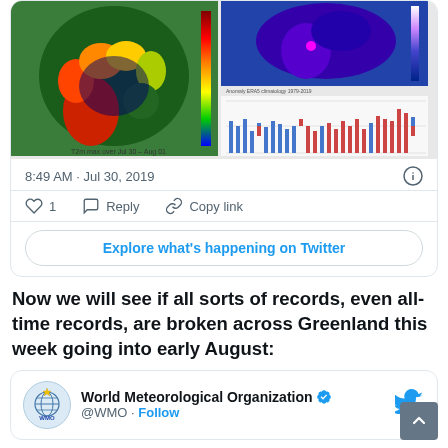[Figure (screenshot): Twitter/X embedded post card showing two climate maps of Greenland and a bar chart of temperature anomalies, with timestamp 8:49 AM · Jul 30, 2019, like count of 1, Reply and Copy link actions, and an Explore what's happening on Twitter button.]
Now we will see if all sorts of records, even all-time records, are broken across Greenland this week going into early August:
[Figure (screenshot): Beginning of a retweet card for World Meteorological Organization (@WMO) with Follow link and Twitter bird logo.]